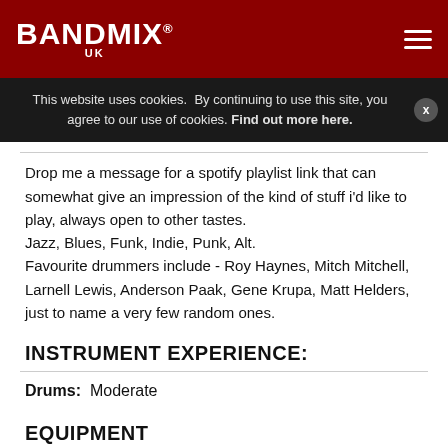BANDMIX® UK
This website uses cookies.  By continuing to use this site, you agree to our use of cookies. Find out more here.
Drop me a message for a spotify playlist link that can somewhat give an impression of the kind of stuff i'd like to play, always open to other tastes.
Jazz, Blues, Funk, Indie, Punk, Alt.
Favourite drummers include - Roy Haynes, Mitch Mitchell, Larnell Lewis, Anderson Paak, Gene Krupa, Matt Helders, just to name a very few random ones.
INSTRUMENT EXPERIENCE:
Drums:  Moderate
EQUIPMENT